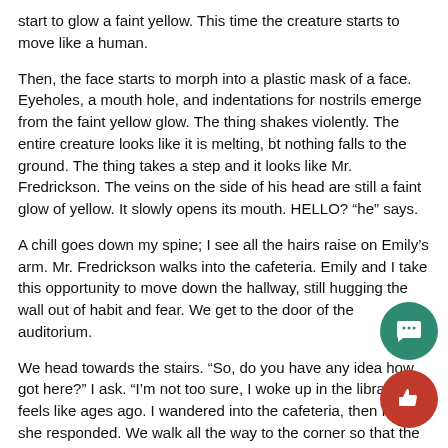start to glow a faint yellow. This time the creature starts to move like a human.
Then, the face starts to morph into a plastic mask of a face. Eyeholes, a mouth hole, and indentations for nostrils emerge from the faint yellow glow. The thing shakes violently. The entire creature looks like it is melting, bt nothing falls to the ground. The thing takes a step and it looks like Mr. Fredrickson. The veins on the side of his head are still a faint glow of yellow. It slowly opens its mouth. HELLO? “he” says.
A chill goes down my spine; I see all the hairs raise on Emily’s arm. Mr. Fredrickson walks into the cafeteria. Emily and I take this opportunity to move down the hallway, still hugging the wall out of habit and fear. We get to the door of the auditorium.
We head towards the stairs. “So, do you have any idea how got here?” I ask. “I’m not too sure, I woke up in the library wha feels like ages ago. I wandered into the cafeteria, then I met y she responded. We walk all the way to the corner so that the could hide us if any more yellow veined creatures found their way